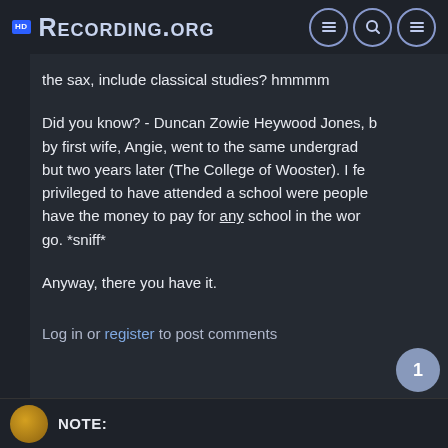Recording.org
the sax, include classical studies? hmmmm

Did you know? - Duncan Zowie Heywood Jones, by first wife, Angie, went to the same undergrad but two years later (The College of Wooster). I feel privileged to have attended a school were people have the money to pay for any school in the world go. *sniff*

Anyway, there you have it.
Log in or register to post comments
NOTE: